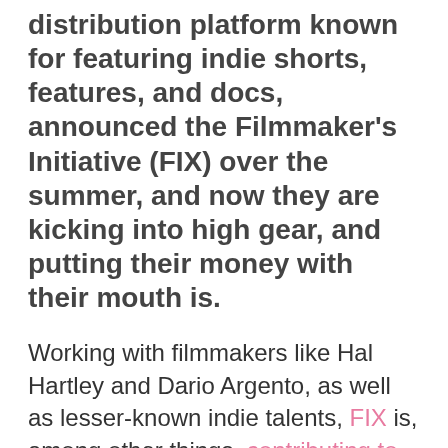distribution platform known for featuring indie shorts, features, and docs, announced the Filmmaker's Initiative (FIX) over the summer, and now they are kicking into high gear, and putting their money with their mouth is.
Working with filmmakers like Hal Hartley and Dario Argento, as well as lesser-known indie talents, FIX is, among other things, contributing to member filmmaker's crowdfunding campaigns. According to Fandor's Amanda Salazar, FIX is Fandor's attempt to build a "community of